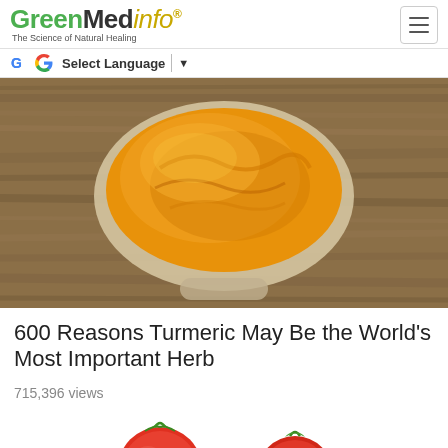GreenMedinfo - The Science of Natural Healing
Select Language
[Figure (photo): A white spoon or bowl filled with bright golden-yellow turmeric powder, set on a wooden surface background]
600 Reasons Turmeric May Be the World's Most Important Herb
715,396 views
[Figure (photo): Red tomatoes on the vine, partially visible at the bottom of the page, on a white background]